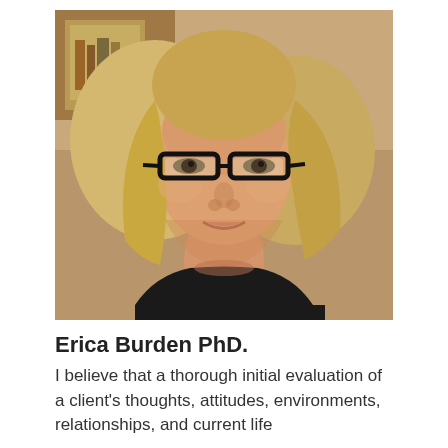[Figure (photo): Headshot portrait of a middle-aged blonde woman wearing dark-rimmed glasses and a black top, photographed in front of a blurred indoor background with bookshelves.]
Erica Burden PhD.
I believe that a thorough initial evaluation of a client's thoughts, attitudes, environments, relationships, and current life